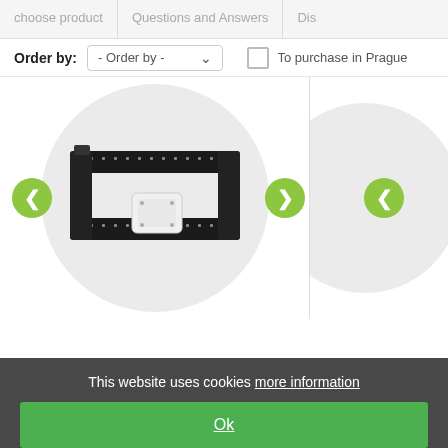choose product   Questions and Answers   Dis...
Order by:  - Order by -   To purchase in Prague
[Figure (photo): Product listing page showing two product cards. Left card shows a black dog collar with reflective stitching and a white electronic device/module attached, displayed inside a circular grey background with green navigation arrows on left and right. Right card shows a partial circular grey background with a green left navigation arrow.]
This website uses cookies more information
Ok